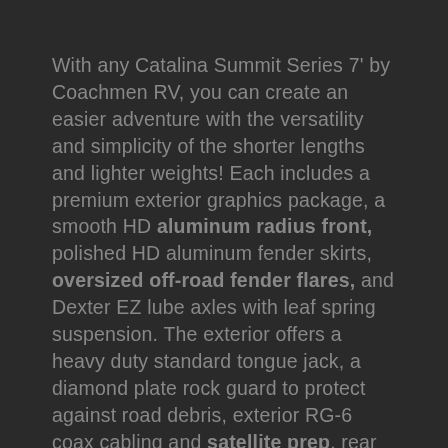With any Catalina Summit Series 7' by Coachmen RV, you can create an easier adventure with the versatility and simplicity of the shorter lengths and lighter weights! Each includes a premium exterior graphics package, a smooth HD aluminum radius front, polished HD aluminum fender skirts, oversized off-road fender flares, and Dexter EZ lube axles with leaf spring suspension. The exterior offers a heavy duty standard tongue jack, a diamond plate rock guard to protect against road debris, exterior RG-6 coax cabling and satellite prep, rear view camera prep, and flush mount baggage doors with radius corners for your outdoor gear. Inside, you will have a stereo with Bluetooth and USB charge port, interior ceiling speakers, seamless Thermofoil countertops throughout, an under-mount farm